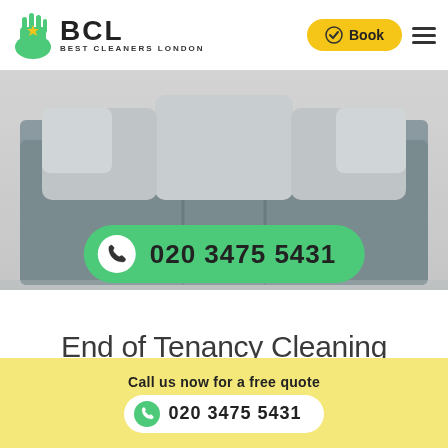[Figure (logo): BCL Best Cleaners London logo with green hand holding a star]
[Figure (screenshot): Book button with yellow background and checkmark icon]
[Figure (photo): Gray sofa with light gray pillows against a white background]
020 3475 5431
End of Tenancy Cleaning Hampstead
[Figure (photo): Outdoor building with yellow autumn tree and blue sky]
Call us now for a free quote
020 3475 5431